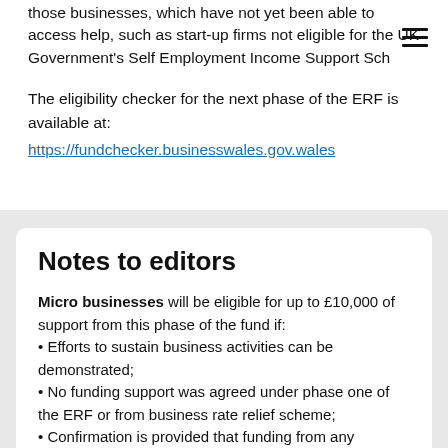those businesses, which have not yet been able to access help, such as start-up firms not eligible for the UK Government's Self Employment Income Support Sch
The eligibility checker for the next phase of the ERF is available at:
https://fundchecker.businesswales.gov.wales
Notes to editors
Micro businesses will be eligible for up to £10,000 of support from this phase of the fund if:
• Efforts to sustain business activities can be demonstrated;
• No funding support was agreed under phase one of the ERF or from business rate relief scheme;
• Confirmation is provided that funding from any...